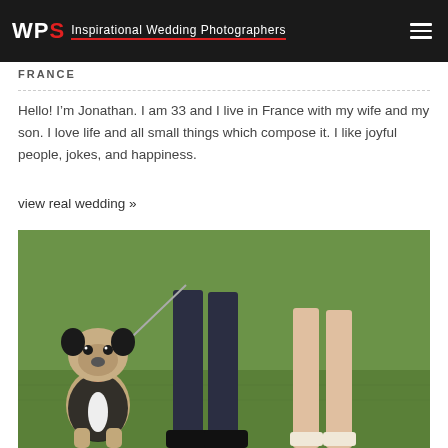WPS Inspirational Wedding Photographers
FRANCE
Hello! I’m Jonathan. I am 33 and I live in France with my wife and my son. I love life and all small things which compose it. I like joyful people, jokes, and happiness.
view real wedding »
[Figure (photo): Wedding photo showing lower legs of a groom in dark suit and dark shoes, bride in heels, and a pug dog dressed in a tuxedo standing on green grass, being led on a leash.]